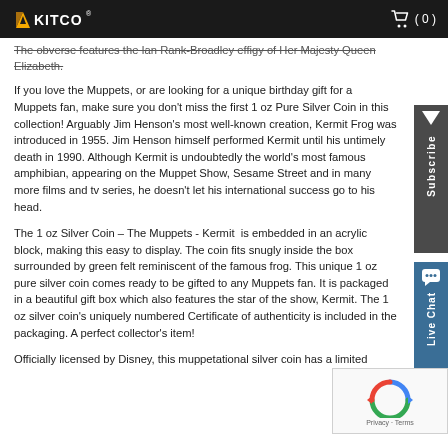KITCO (0)
The obverse features the Ian Rank-Broadley effigy of Her Majesty Queen Elizabeth.
If you love the Muppets, or are looking for a unique birthday gift for a Muppets fan, make sure you don't miss the first 1 oz Pure Silver Coin in this collection! Arguably Jim Henson's most well-known creation, Kermit Frog was introduced in 1955. Jim Henson himself performed Kermit until his untimely death in 1990. Although Kermit is undoubtedly the world's most famous amphibian, appearing on the Muppet Show, Sesame Street and in many more films and tv series, he doesn't let his international success go to his head.
The 1 oz Silver Coin – The Muppets - Kermit is embedded in an acrylic block, making this easy to display. The coin fits snugly inside the box surrounded by green felt reminiscent of the famous frog. This unique 1 oz pure silver coin comes ready to be gifted to any Muppets fan. It is packaged in a beautiful gift box which also features the star of the show, Kermit. The 1 oz silver coin's uniquely numbered Certificate of authenticity is included in the packaging. A perfect collector's item!
Officially licensed by Disney, this muppetational silver coin has a limited